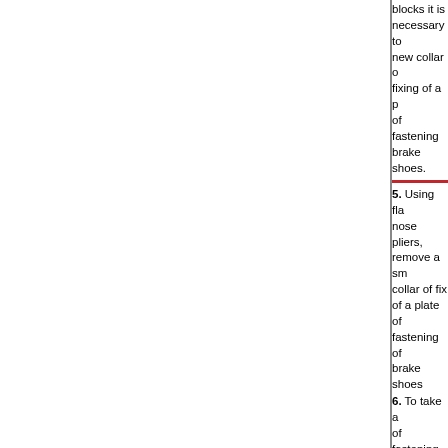blocks it is necessary to new collar o fixing of a p of fastening brake shoes.
5. Using fla nose pliers, remove a sm collar of fix of a plate of fastening of brake shoes
6. To take a of fastening blocks from support.
7. To take b shoes from support, not an arrangem of a spring o anti-jingle a remove a sp